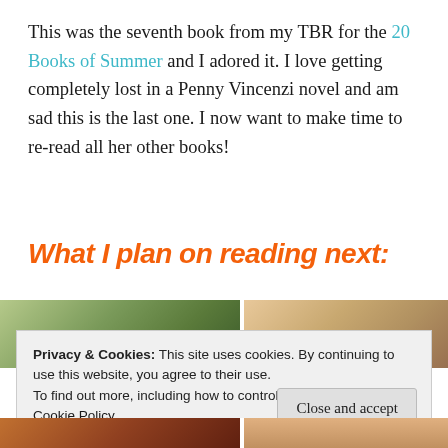This was the seventh book from my TBR for the 20 Books of Summer and I adored it. I love getting completely lost in a Penny Vincenzi novel and am sad this is the last one. I now want to make time to re-read all her other books!
What I plan on reading next:
[Figure (photo): Partial photo strip showing two images side by side, partially obscured by cookie banner]
Privacy & Cookies: This site uses cookies. By continuing to use this website, you agree to their use.
To find out more, including how to control cookies, see here: Cookie Policy
[Figure (photo): Bottom photo strip showing partial images]